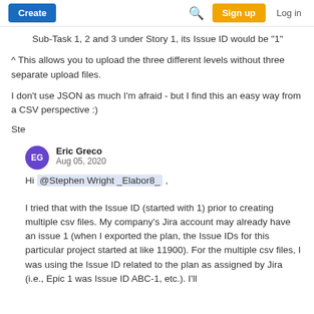Create | Search | Sign up | Log in
Sub-Task 1, 2 and 3 under Story 1, its Issue ID would be "1"
^ This allows you to upload the three different levels without three separate upload files.
I don't use JSON as much I'm afraid - but I find this an easy way from a CSV perspective :)
Ste
Eric Greco
Aug 05, 2020
Hi @Stephen Wright _Elabor8_ ,
I tried that with the Issue ID (started with 1) prior to creating multiple csv files. My company's Jira account may already have an issue 1 (when I exported the plan, the Issue IDs for this particular project started at like 11900). For the multiple csv files, I was using the Issue ID related to the plan as assigned by Jira (i.e., Epic 1 was Issue ID ABC-1, etc.). I'll